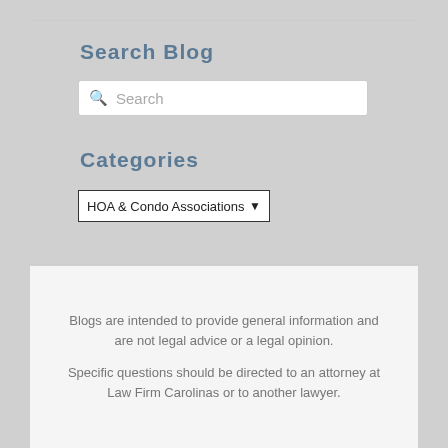Search Blog
Search
Categories
HOA & Condo Associations
Blogs are intended to provide general information and are not legal advice or a legal opinion.
Specific questions should be directed to an attorney at Law Firm Carolinas or to another lawyer.